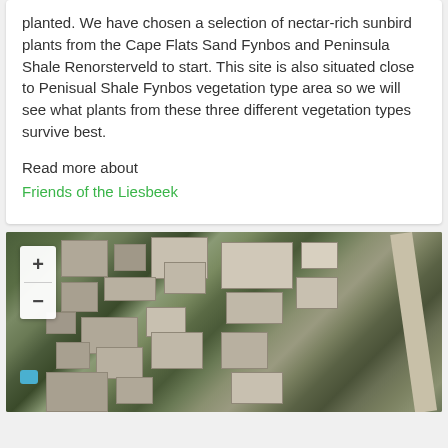planted. We have chosen a selection of nectar-rich sunbird plants from the Cape Flats Sand Fynbos and Peninsula Shale Renorsterveld to start. This site is also situated close to Penisual Shale Fynbos vegetation type area so we will see what plants from these three different vegetation types survive best.
Read more about Friends of the Liesbeek
[Figure (map): Aerial satellite map view showing urban area with buildings, roads, trees and green spaces. Map has zoom in (+) and zoom out (-) controls in the upper left corner.]